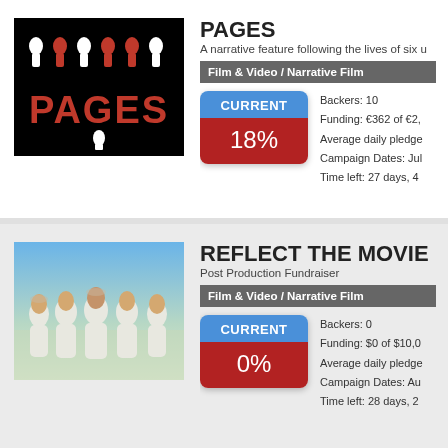[Figure (screenshot): PAGES project thumbnail - black background with red and white bowling pin letters spelling PAGES]
PAGES
A narrative feature following the lives of six u
Film & Video / Narrative Film
[Figure (infographic): CURRENT 18% funding badge with blue top and red bottom]
Backers: 10
Funding: €362 of €2,
Average daily pledge
Campaign Dates: Jul
Time left: 27 days, 4
[Figure (photo): REFLECT THE MOVIE thumbnail - group of women in white dresses outdoors]
REFLECT THE MOVIE
Post Production Fundraiser
Film & Video / Narrative Film
[Figure (infographic): CURRENT 0% funding badge with blue top and red bottom]
Backers: 0
Funding: $0 of $10,0
Average daily pledge
Campaign Dates: Au
Time left: 28 days, 2